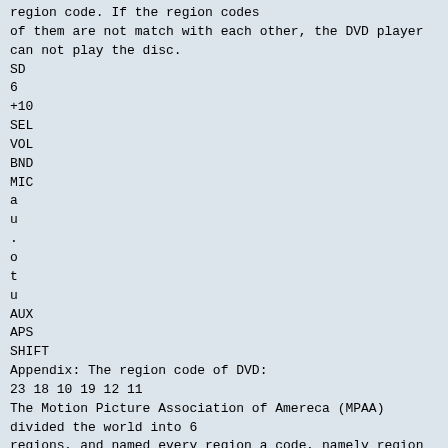region code. If the region codes of them are not match with each other, the DVD player can not play the disc.
SD
6
+10
SEL
VOL
BND
MIC
a
u
.
o
t
u
AUX
APS
SHIFT
Appendix: The region code of DVD:
23 18 10 19 12 11
The Motion Picture Association of Amereca (MPAA) divided the world into 6
regions, and named every region a code, namely region code. The region codes
and the countries or areas represented by the region codes are as follows:
22
The figure of the front panel
a
in
SD
24